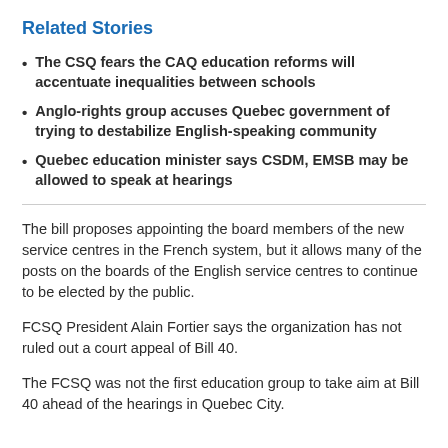Related Stories
The CSQ fears the CAQ education reforms will accentuate inequalities between schools
Anglo-rights group accuses Quebec government of trying to destabilize English-speaking community
Quebec education minister says CSDM, EMSB may be allowed to speak at hearings
The bill proposes appointing the board members of the new service centres in the French system, but it allows many of the posts on the boards of the English service centres to continue to be elected by the public.
FCSQ President Alain Fortier says the organization has not ruled out a court appeal of Bill 40.
The FCSQ was not the first education group to take aim at Bill 40 ahead of the hearings in Quebec City.